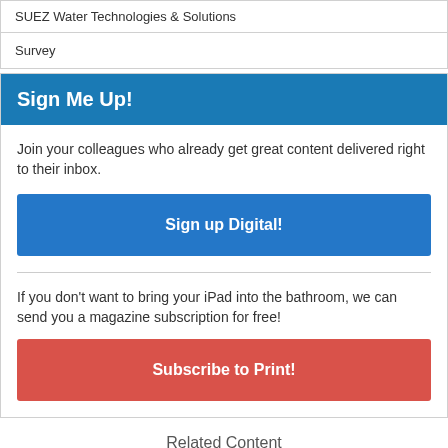SUEZ Water Technologies & Solutions
Survey
Sign Me Up!
Join your colleagues who already get great content delivered right to their inbox.
Sign up Digital!
If you don't want to bring your iPad into the bathroom, we can send you a magazine subscription for free!
Subscribe to Print!
Related Content